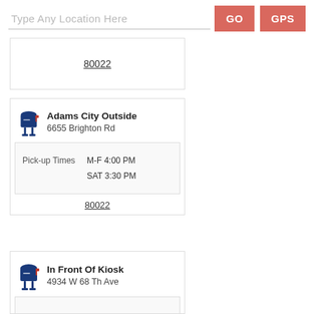Type Any Location Here
GO
GPS
80022
Adams City Outside
6655 Brighton Rd
Pick-up Times  M-F 4:00 PM  SAT 3:30 PM
80022
In Front Of Kiosk
4934 W 68 Th Ave
Pick-up Times  M-F 9:50 AM